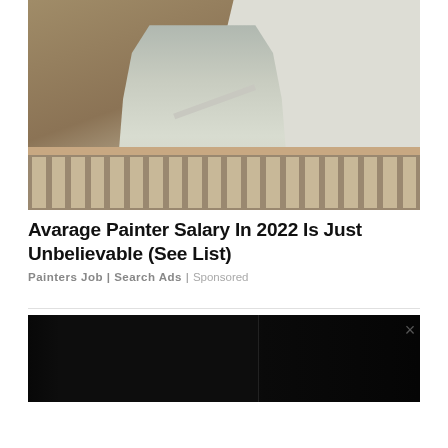[Figure (photo): A painter from behind painting a wall white with a roller brush, wearing a gray t-shirt and light pants with a tool belt. Interior staircase with wooden railing and balusters visible in the lower portion. Walls are tan/brown color.]
Avarage Painter Salary In 2022 Is Just Unbelievable (See List)
Painters Job | Search Ads | Sponsored
[Figure (photo): Dark/black image, partially visible advertisement below a divider line with a close button (x)]